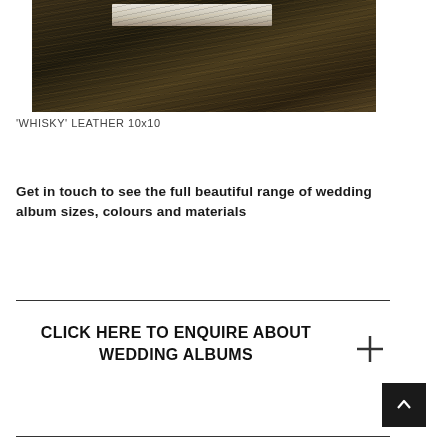[Figure (photo): Close-up photo of a dark brown whisky leather album cover with a silver/white metallic clasp or spine element visible at the top]
'WHISKY' LEATHER 10x10
Get in touch to see the full beautiful range of wedding album sizes, colours and materials
CLICK HERE TO ENQUIRE ABOUT WEDDING ALBUMS